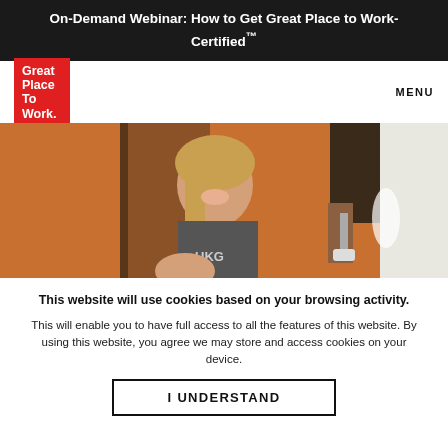On-Demand Webinar: How to Get Great Place to Work-Certified™
[Figure (logo): Great Place To Work red logo box with white text]
MENU
[Figure (photo): Two workers smiling and painting an orange wall, one wearing a UKG shirt]
This website will use cookies based on your browsing activity.
This will enable you to have full access to all the features of this website. By using this website, you agree we may store and access cookies on your device.
I UNDERSTAND